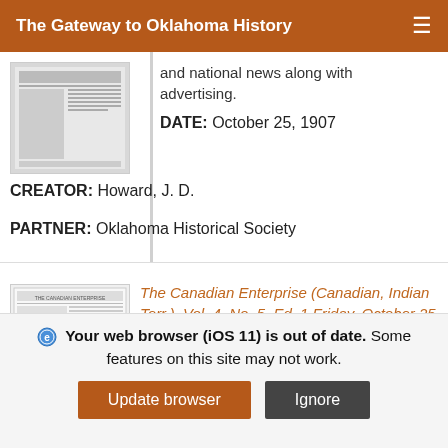The Gateway to Oklahoma History
and national news along with advertising.
DATE: October 25, 1907
CREATOR: Howard, J. D.
PARTNER: Oklahoma Historical Society
[Figure (screenshot): Thumbnail of newspaper front page (first result)]
[Figure (screenshot): Thumbnail of The Canadian Enterprise newspaper front page]
The Canadian Enterprise (Canadian, Indian Terr.), Vol. 4, No. 5, Ed. 1 Friday, October 25, 1907
Weekly newspaper from Canadian, Indian Territory
Your web browser (iOS 11) is out of date. Some features on this site may not work.